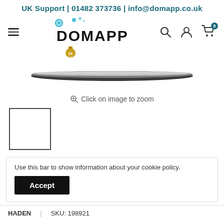UK Support | 01482 373736 | info@domapp.co.uk
[Figure (logo): DOMAPP logo with snowflake decoration and gold medal badge, navigation bar with hamburger menu, search icon, account icon, and cart icon showing 0 items]
[Figure (photo): A flat dark-colored pan or paella pan viewed from the side, showing a very slim profile against white background]
Click on image to zoom
[Figure (photo): Small empty thumbnail image box with dark border]
Use this bar to show information about your cookie policy.
Accept
HADEN | SKU: 198921